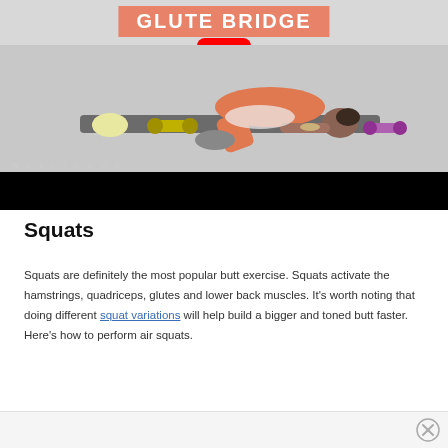[Figure (screenshot): YouTube video thumbnail showing 'Glute Bridge' exercise with a woman performing a glute bridge on a yoga mat, surrounded by dumbbells and foam rollers. Well+Good watermark visible. Red YouTube play button overlay in center.]
Squats
Squats are definitely the most popular butt exercise. Squats activate the hamstrings, quadriceps, glutes and lower back muscles. It's worth noting that doing different squat variations will help build a bigger and toned butt faster. Here's how to perform air squats.